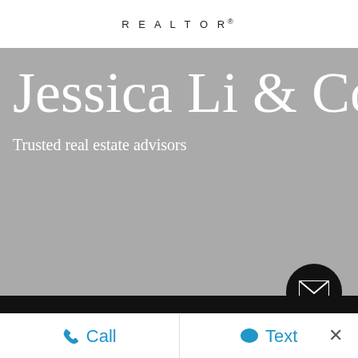REALTOR®
Jessica Li & Co.
Trusted real estate advisors
[Figure (illustration): Email icon in black circle button]
[Figure (illustration): Phone icon in white on black bar with left and right arrows]
Call
Text